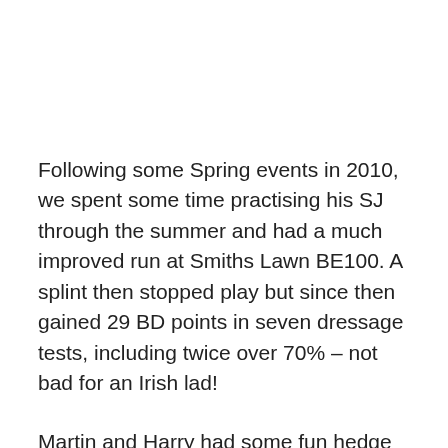Following some Spring events in 2010, we spent some time practising his SJ through the summer and had a much improved run at Smiths Lawn BE100. A splint then stopped play but since then gained 29 BD points in seven dressage tests, including twice over 70% – not bad for an Irish lad!
Martin and Harry had some fun hedge hopping with the Coakham Bloodhounds through the winter 10-11, and I did only a few Spring events when it became obvious that Harry was uncomfortable. He was diagnosed with a sacroiliac joint problem and also proximal suspensory